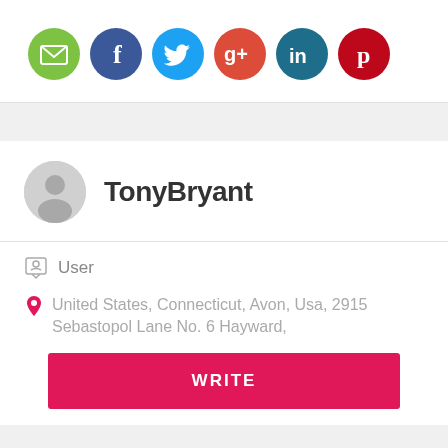[Figure (infographic): Row of six circular social media share icons: email (green), Facebook (dark blue), Twitter (light blue), Google+ (orange-red), LinkedIn (dark teal), Pinterest (dark red)]
TonyBryant
User
United States, Connecticut, Avon, Usa, 2915 Sebastopol Lane No. 6 Hayward,
WRITE